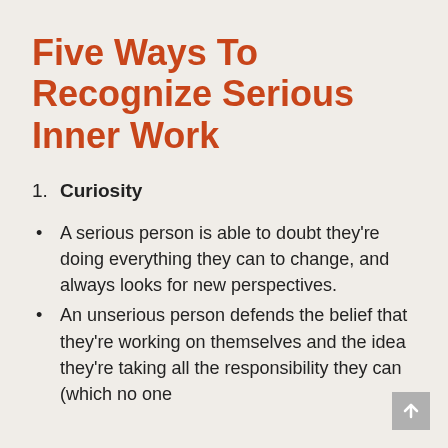Five Ways To Recognize Serious Inner Work
1. Curiosity
A serious person is able to doubt they're doing everything they can to change, and always looks for new perspectives.
An unserious person defends the belief that they're working on themselves and the idea they're taking all the responsibility they can (which no one